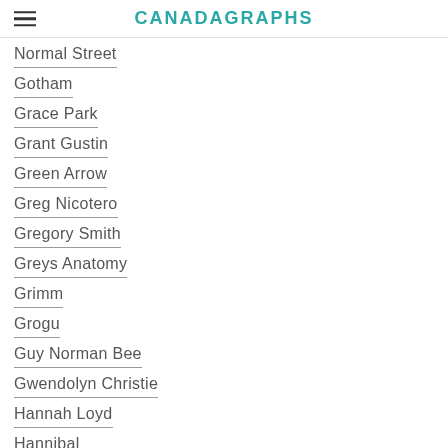CANADAGRAPHS
Normal Street
Gotham
Grace Park
Grant Gustin
Green Arrow
Greg Nicotero
Gregory Smith
Greys Anatomy
Grimm
Grogu
Guy Norman Bee
Gwendolyn Christie
Hannah Loyd
Hannibal
Happy Quinn